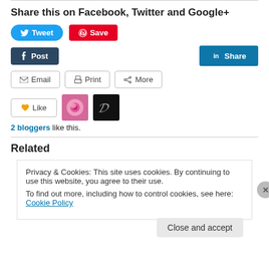Share this on Facebook, Twitter and Google+
[Figure (infographic): Social sharing buttons: Tweet (Twitter, blue rounded), Save (Pinterest, red), Post (Tumblr, dark navy), Share (LinkedIn, blue teal), Email, Print, More]
[Figure (infographic): Like button with two blogger avatar thumbnails (rose photo, dark italic logo)]
2 bloggers like this.
Related
Privacy & Cookies: This site uses cookies. By continuing to use this website, you agree to their use.
To find out more, including how to control cookies, see here: Cookie Policy
Close and accept